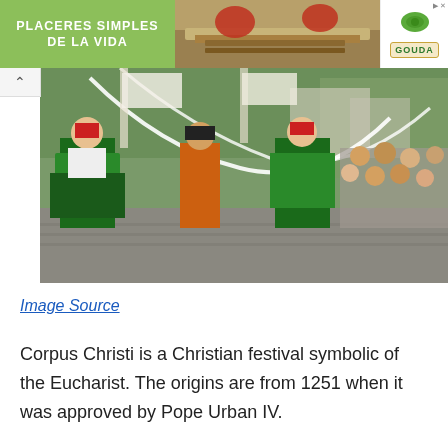[Figure (photo): Advertisement banner with green background showing 'PLACERES SIMPLES DE LA VIDA' text on left, food image in center, and Gouda cheese product on right]
[Figure (photo): Outdoor festival scene showing people in traditional Polish folk costumes dancing and parading through a city street. Women wear colorful embroidered dresses with green and red skirts, men in traditional outfits. Crowds of spectators visible in background with trees and buildings.]
Image Source
Corpus Christi is a Christian festival symbolic of the Eucharist. The origins are from 1251 when it was approved by Pope Urban IV.